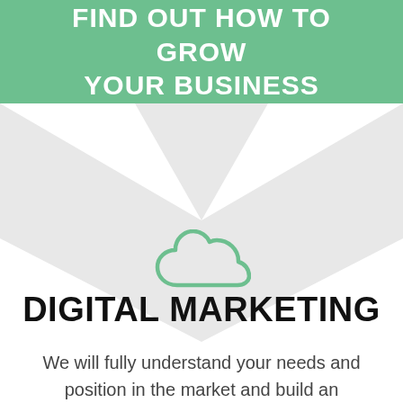FIND OUT HOW TO GROW YOUR BUSINESS
[Figure (illustration): Light gray downward-pointing chevron/arrow shape below green banner]
[Figure (illustration): Green outline cloud icon]
DIGITAL MARKETING
We will fully understand your needs and position in the market and build an